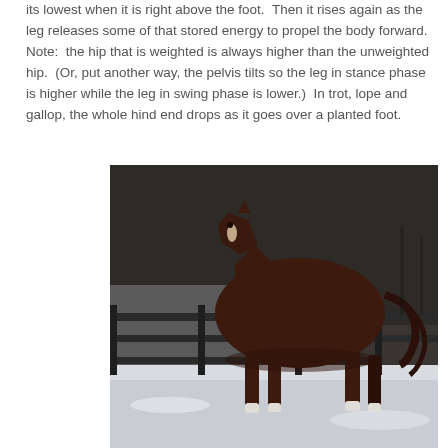its lowest when it is right above the foot.  Then it rises again as the leg releases some of that stored energy to propel the body forward.  Note:  the hip that is weighted is always higher than the unweighted hip.  (Or, put another way, the pelvis tilts so the leg in stance phase is higher while the leg in swing phase is lower.)  In trot, lope and gallop, the whole hind end drops as it goes over a planted foot.
[Figure (photo): A dark chestnut/bay horse trotting or moving in a snowy paddock area with a dark wooden fence in the background. The horse is viewed from the side and appears to be a young horse or foal.]